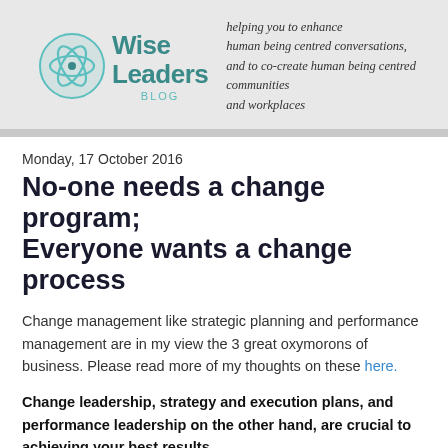[Figure (logo): Wise Leaders Blog logo: teal circular atom-like icon with 'Wise Leaders' in teal bold text and 'BLOG' below in lighter teal, next to italic tagline text]
helping you to enhance human being centred conversations, and to co-create human being centred communities and workplaces
Monday, 17 October 2016
No-one needs a change program; Everyone wants a change process
Change management like strategic planning and performance management are in my view the 3 great oxymorons of business. Please read more of my thoughts on these here.
Change leadership, strategy and execution plans, and performance leadership on the other hand, are crucial to achieving your best results.